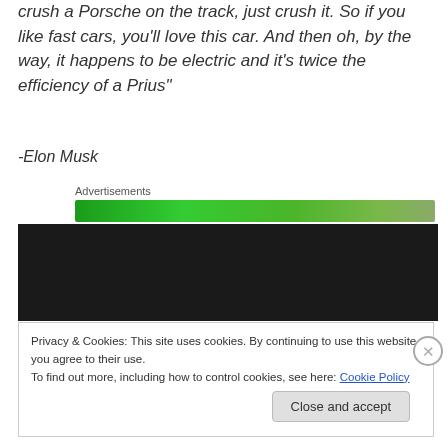crush a Porsche on the track, just crush it. So if you like fast cars, you'll love this car. And then oh, by the way, it happens to be electric and it's twice the efficiency of a Prius"
-Elon Musk
Advertisements
[Figure (other): Green advertisement banner]
[Figure (other): Dark black banner/video area]
Privacy & Cookies: This site uses cookies. By continuing to use this website, you agree to their use.
To find out more, including how to control cookies, see here: Cookie Policy
Close and accept